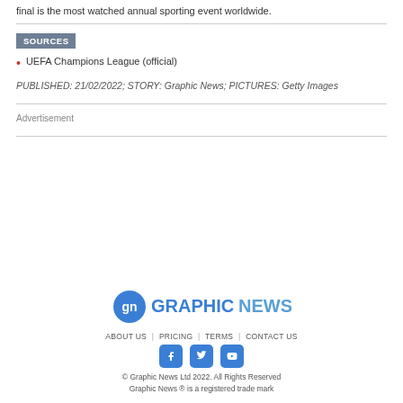final is the most watched annual sporting event worldwide.
SOURCES
UEFA Champions League (official)
PUBLISHED: 21/02/2022; STORY: Graphic News; PICTURES: Getty Images
Advertisement
[Figure (logo): Graphic News logo with circular GN icon and GRAPHICNEWS text in blue]
ABOUT US | PRICING | TERMS | CONTACT US
© Graphic News Ltd 2022. All Rights Reserved
Graphic News ® is a registered trade mark